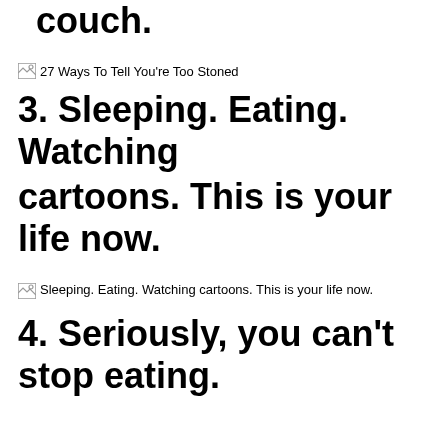2. Like you actually can't get on the couch.
[Figure (photo): Broken image placeholder with alt text: 27 Ways To Tell You're Too Stoned]
3. Sleeping. Eating. Watching cartoons. This is your life now.
[Figure (photo): Broken image placeholder with alt text: Sleeping. Eating. Watching cartoons. This is your life now.]
4. Seriously, you can't stop eating.